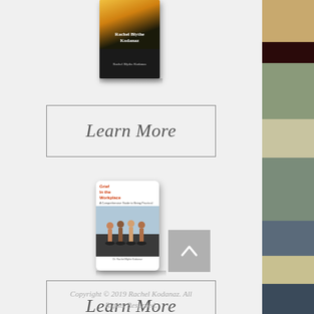[Figure (photo): Book cover by Rachel Blythe Kodanaz, orange/dark color scheme]
Learn More
[Figure (photo): Book cover 'Grief In the Workplace' by Dr. Rachel Blythe Kodanaz, white cover with figures]
Learn More
Copyright © 2019 Rachel Kodanaz. All Rights Reserved.